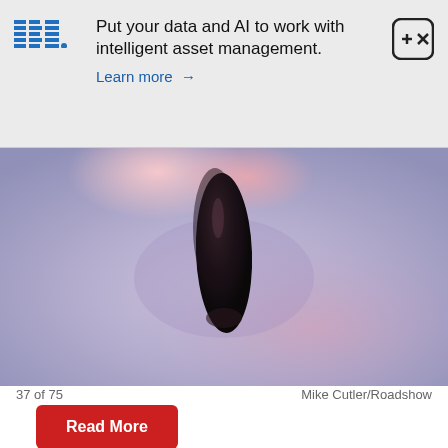[Figure (logo): IBM logo in blue stripe style, and advertisement banner with text: Put your data and AI to work with intelligent asset management. Learn more →]
[Figure (photo): Close-up photograph of a dark metallic object (appears to be a car antenna or similar automotive part) on a light purple/grey surface, with reflective lighting.]
37 of 75   Mike Cutler/Roadshow
Read More